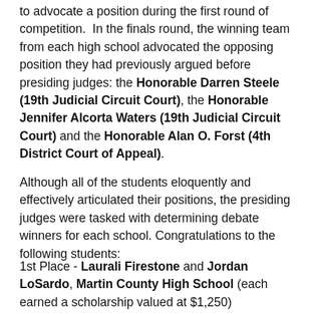to advocate a position during the first round of competition.  In the finals round, the winning team from each high school advocated the opposing position they had previously argued before presiding judges: the Honorable Darren Steele (19th Judicial Circuit Court), the Honorable Jennifer Alcorta Waters (19th Judicial Circuit Court) and the Honorable Alan O. Forst (4th District Court of Appeal).
Although all of the students eloquently and effectively articulated their positions, the presiding judges were tasked with determining debate winners for each school. Congratulations to the following students:
1st Place - Laurali Firestone and Jordan LoSardo, Martin County High School (each earned a scholarship valued at $1,250)